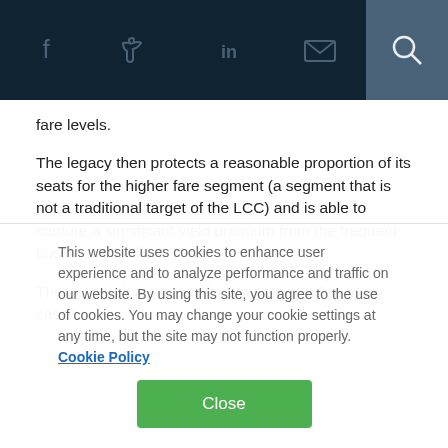Navigation bar with social icons: Facebook, Twitter, LinkedIn, Email, Search
fare levels.
The legacy then protects a reasonable proportion of its seats for the higher fare segment (a segment that is not a traditional target of the LCC) and is able to capture a significant yield premium from the frequent business travellers.
The net result is that the legacy carrier will in many cases
This website uses cookies to enhance user experience and to analyze performance and traffic on our website. By using this site, you agree to the use of cookies. You may change your cookie settings at any time, but the site may not function properly.  Cookie Policy
Close